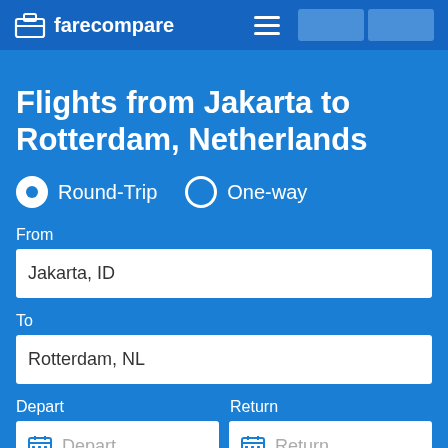farecompare
Flights from Jakarta to Rotterdam, Netherlands
Round-Trip
One-way
From
Jakarta, ID
To
Rotterdam, NL
Depart
Return
Depart
Return
1 traveler
Nonstop